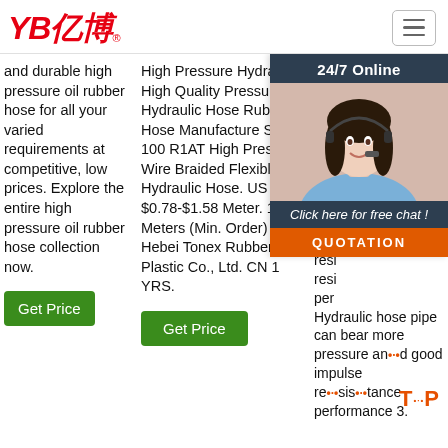[Figure (logo): YB亿博 logo in red italic text with registered trademark symbol]
[Figure (other): Hamburger menu icon (three horizontal lines) in a rounded rectangle border]
and durable high pressure oil rubber hose for all your varied requirements at competitive, low prices. Explore the entire high pressure oil rubber hose collection now.
Get Price
High Pressure Hydraulic High Quality Pressure Hydraulic Hose Rubber Hose Manufacture SAE 100 R1AT High Pressure Wire Braided Flexible Hydraulic Hose. US $0.78-$1.58 Meter. 100 Meters (Min. Order) Hebei Tonex Rubber And Plastic Co., Ltd. CN 1 YRS.
Get Price
SAE R5 Man 100 Rub Hos 1. T spe rub exc resi resi resi per Hydraulic hose pipe can bear more pressure and good impulse resistance performance 3.
[Figure (photo): Customer service representative woman wearing headset, smiling, with 24/7 Online chat popup overlay]
24/7 Online
Click here for free chat !
QUOTATION